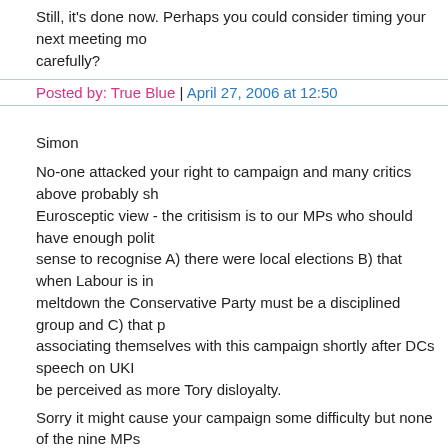Still, it's done now. Perhaps you could consider timing your next meeting more carefully?
Posted by: True Blue | April 27, 2006 at 12:50
Simon
No-one attacked your right to campaign and many critics above probably share the Eurosceptic view - the critisism is to our MPs who should have enough political sense to recognise A) there were local elections B) that when Labour is in meltdown the Conservative Party must be a disciplined group and C) that by associating themselves with this campaign shortly after DCs speech on UKIP could be perceived as more Tory disloyalty.
Sorry it might cause your campaign some difficulty but none of the nine MPs should have associated themselves with your launch or if you wanted them on board you could have looked for a time when Europe actually mattered (ie the Blair budget fiasco) to do it.
Posted by: Ted | April 27, 2006 at 12:53
A fair point, True Blue. I'll try to remember it next time we launch a campaign. Incidentally, we could have done without the scandals involving Charles Cla...